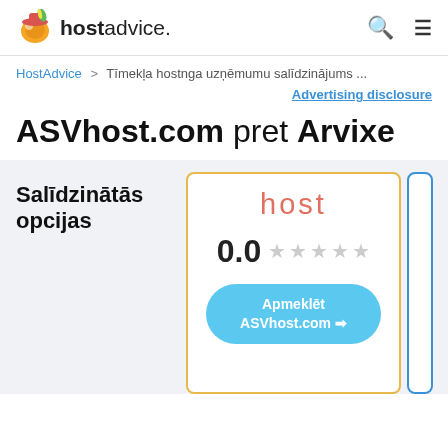hostadvice. [search icon] [menu icon]
HostAdvice > Tīmekļa hostnga uzņēmumu salīdzinājums ...
Advertising disclosure
ASVhost.com pret Arvixe
Salīdzinātās opcijas
[Figure (screenshot): ASVhost.com hosting provider card with rating 0.0 out of 5 stars (all grey), and a blue 'Apmeklēt ASVhost.com' visit button]
[Figure (screenshot): Partially visible second hosting provider comparison card with blue border (Arvixe)]